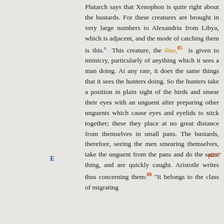Plutarch says that Xenophon is quite right about the bustards. For these creatures are brought in very large numbers to Alexandria from Libya, which is adjacent, and the mode of catching them is this.[a] This creature, the ôtus,[85] is given to mimicry, particularly of anything which it sees a man doing. At any rate, it does the same things that it sees the hunters doing. So the hunters take a position in plain sight of the birds and smear their eyes with an unguent after preparing other unguents which cause eyes and eyelids to stick together; these they place at no great distance from themselves in small pans. The bustards, therefore, seeing the men smearing themselves, take the unguent from the pans and do the same thing, and are quickly caught. Aristotle writes thus concerning them:[86] "It belongs to the class of migrating